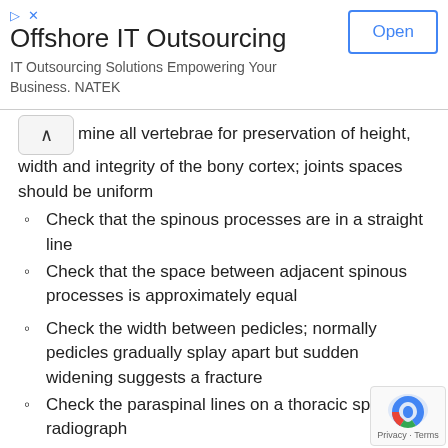[Figure (other): Advertisement banner for Offshore IT Outsourcing by NATEK with an Open button]
mine all vertebrae for preservation of height, width and integrity of the bony cortex; joints spaces should be uniform
Check that the spinous processes are in a straight line
Check that the space between adjacent spinous processes is approximately equal
Check the width between pedicles; normally pedicles gradually splay apart but sudden widening suggests a fracture
Check the paraspinal lines on a thoracic spine radiograph
Right paraspinal line should not be visible
Left paraspinal line should be closely applied to vertebral bodies with the vertical shadow of the descending aorta lateral to it
Any displacement or bulging should be regarded as haematoma from a vertebral body fracture